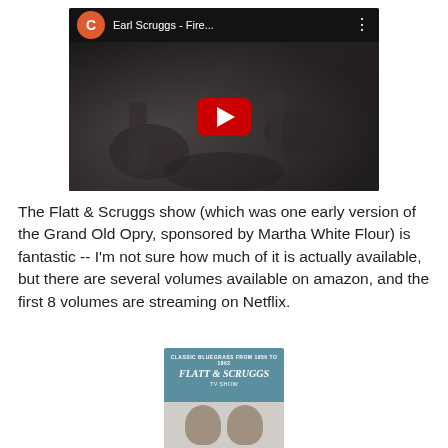[Figure (screenshot): YouTube video thumbnail showing Earl Scruggs - Fire... with a black and white image of musicians playing banjo. A red circular avatar with letter C is shown in the top bar alongside the video title and a three-dot menu icon. A large red YouTube play button is centered on the thumbnail.]
The Flatt & Scruggs show (which was one early version of the Grand Old Opry, sponsored by Martha White Flour) is fantastic -- I'm not sure how much of it is actually available, but there are several volumes available on amazon, and the first 8 volumes are streaming on Netflix.
[Figure (photo): Album cover for Best of the Flatt & Scruggs TV Show - Classic Bluegrass from 1956 to 1962, showing two men in cowboy hats at the bottom of a teal/blue colored cover.]